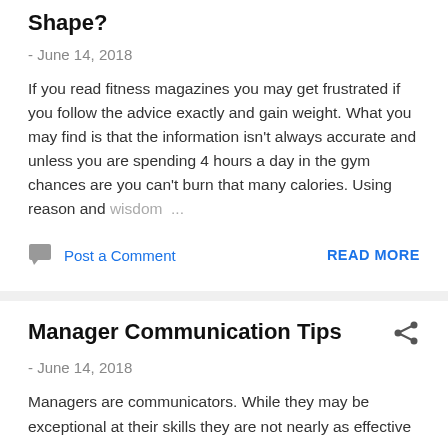Shape?
- June 14, 2018
If you read fitness magazines you may get frustrated if you follow the advice exactly and gain weight. What you may find is that the information isn't always accurate and unless you are spending 4 hours a day in the gym chances are you can't burn that many calories. Using reason and wisdom ...
Post a Comment
READ MORE
Manager Communication Tips
- June 14, 2018
Managers are communicators. While they may be exceptional at their skills they are not nearly as effective as